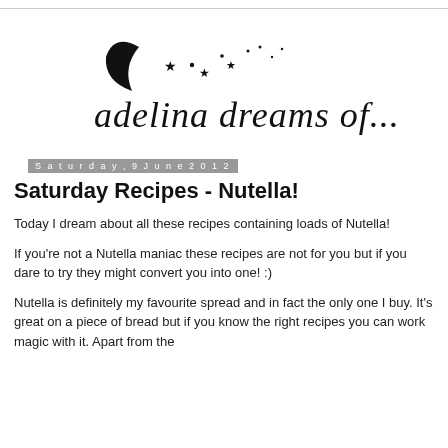[Figure (logo): Blog logo for 'adelina dreams of...' with crescent moon and stars decorative illustration above handwritten-style text]
Saturday, 9 June 2012
Saturday Recipes - Nutella!
Today I dream about all these recipes containing loads of Nutella!
If you're not a Nutella maniac these recipes are not for you but if you dare to try they might convert you into one! :)
Nutella is definitely my favourite spread and in fact the only one I buy. It's great on a piece of bread but if you know the right recipes you can work magic with it. Apart from the